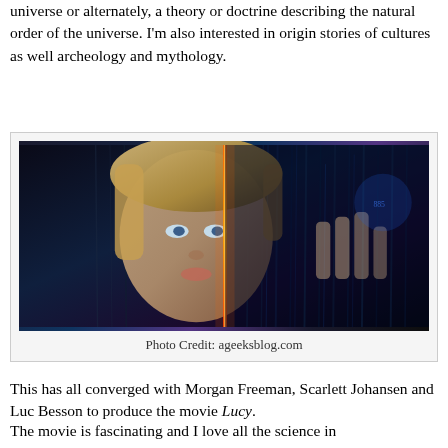universe or alternately, a theory or doctrine describing the natural order of the universe. I'm also interested in origin stories of cultures as well archeology and mythology.
[Figure (photo): Movie still or promotional image of a woman with short blonde hair in a dark setting with digital rain/streaks of light — from the movie Lucy. Photo Credit: ageeksblog.com]
Photo Credit: ageeksblog.com
This has all converged with Morgan Freeman, Scarlett Johansen and Luc Besson to produce the movie Lucy.
The movie is fascinating and I love all the science in